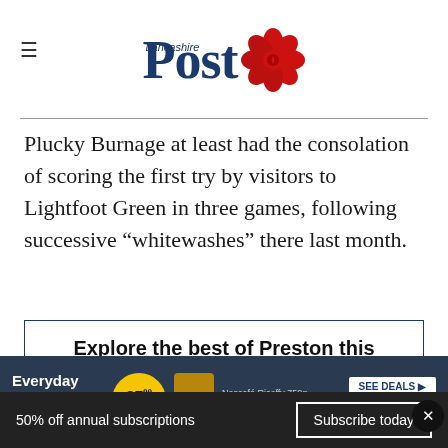[Figure (logo): Lancashire Post logo with red rose emblem and blue text]
Plucky Burnage at least had the consolation of scoring the first try by visitors to Lightfoot Green in three games, following successive “whitewashes” there last month.
Explore the best of Preston this summer
[Figure (infographic): Pick n Pay advertisement: Everyday Exceptional - Nescafé Ricoffy 750g, price 87.00, Save R22, See Deals button]
50% off annual subscriptions   Subscribe today